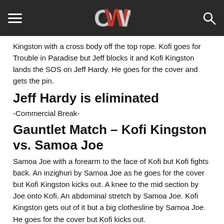OWW
Kingston with a cross body off the top rope. Kofi goes for Trouble in Paradise but Jeff blocks it and Kofi Kingston lands the SOS on Jeff Hardy. He goes for the cover and gets the pin.
Jeff Hardy is eliminated
-Commercial Break-
Gauntlet Match – Kofi Kingston vs. Samoa Joe
Samoa Joe with a forearm to the face of Kofi but Kofi fights back. An inzighuri by Samoa Joe as he goes for the cover but Kofi Kingston kicks out. A knee to the mid section by Joe onto Kofi. An abdominal stretch by Samoa Joe. Kofi Kingston gets out of it but a big clothesline by Samoa Joe. He goes for the cover but Kofi kicks out.
A mention that Kofi Kingston has been in the match for over 40